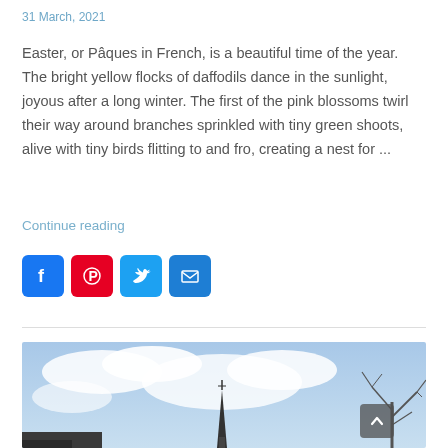31 March, 2021
Easter, or Pâques in French, is a beautiful time of the year. The bright yellow flocks of daffodils dance in the sunlight, joyous after a long winter. The first of the pink blossoms twirl their way around branches sprinkled with tiny green shoots, alive with tiny birds flitting to and fro, creating a nest for ...
Continue reading
[Figure (infographic): Social share buttons: Facebook, Pinterest, Twitter, Email]
[Figure (photo): Outdoor photo showing a blue sky with white clouds, a church steeple in the center, and bare tree branches on the right side]